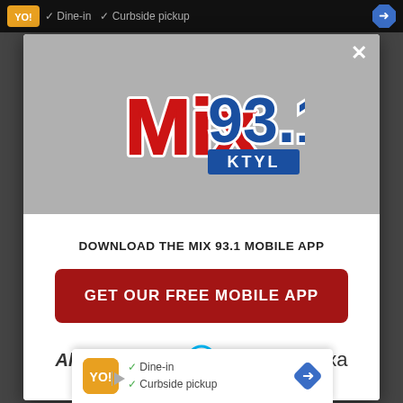[Figure (screenshot): Mobile app download popup modal for Mix 93.1 KTYL radio station. The modal has a gray upper section with the Mix 93.1 KTYL logo, a white lower section with a download prompt, a red CTA button reading GET OUR FREE MOBILE APP, and an Also listen on: amazon alexa row. A bottom ad banner shows a restaurant listing with Dine-in and Curbside pickup checkmarks.]